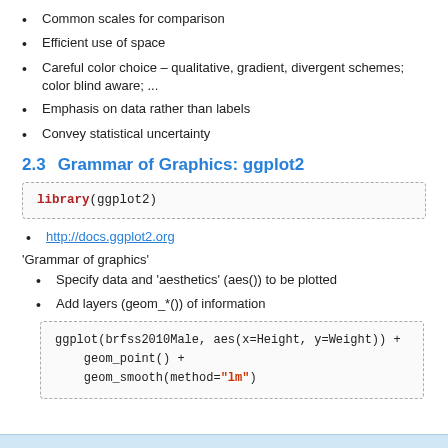Common scales for comparison
Efficient use of space
Careful color choice – qualitative, gradient, divergent schemes; color blind aware; ...
Emphasis on data rather than labels
Convey statistical uncertainty
2.3  Grammar of Graphics: ggplot2
library(ggplot2)
http://docs.ggplot2.org
'Grammar of graphics'
Specify data and 'aesthetics' (aes()) to be plotted
Add layers (geom_*()) of information
ggplot(brfss2010Male, aes(x=Height, y=Weight)) +
    geom_point() +
    geom_smooth(method="lm")